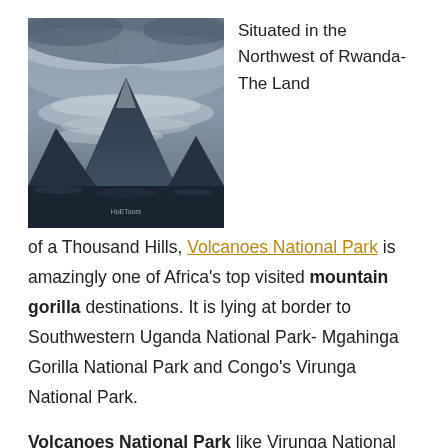[Figure (photo): Mountain volcanic peak under dramatic cloudy sky, dark blue-grey tones, watermark 'HoETours' at bottom center]
Situated in the Northwest of Rwanda- The Land of a Thousand Hills, Volcanoes National Park is amazingly one of Africa's top visited mountain gorilla destinations. It is lying at border to Southwestern Uganda National Park- Mgahinga Gorilla National Park and Congo's Virunga National Park.
Volcanoes National Park like Virunga National Park was gazetted in 1925 making one of Africa's oldest park and occupies only 160sq kms of surface area. The park